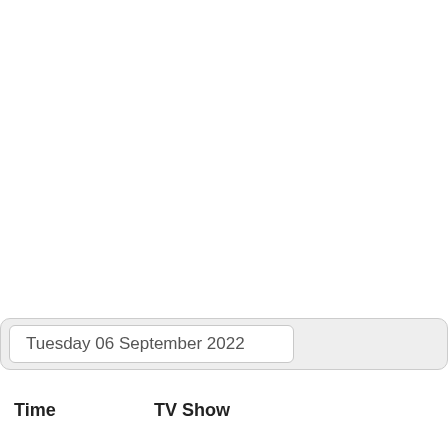Tuesday 06 September 2022
| Time | TV Show |
| --- | --- |